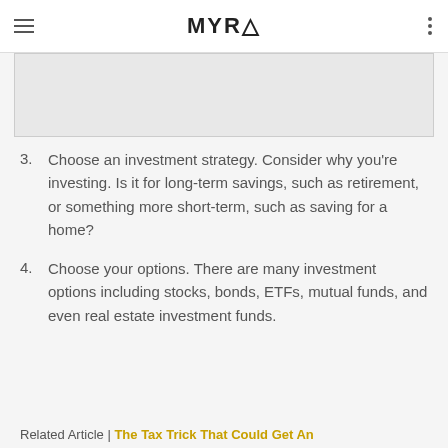MYRA
[Figure (other): Advertisement / banner placeholder area (gray rectangle)]
3. Choose an investment strategy. Consider why you're investing. Is it for long-term savings, such as retirement, or something more short-term, such as saving for a home?
4. Choose your options. There are many investment options including stocks, bonds, ETFs, mutual funds, and even real estate investment funds.
Related Article | The Tax Trick That Could Get An